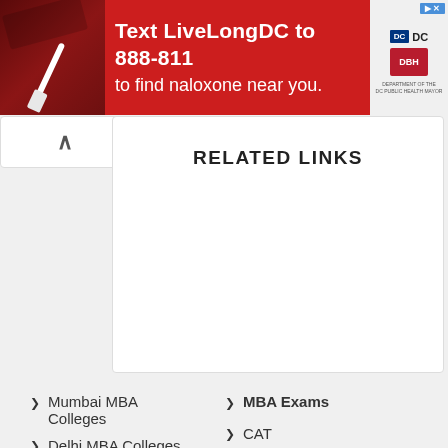[Figure (photo): Red advertisement banner: Text LiveLongDC to 888-811 to find naloxone near you. Shows DC and DHH logos.]
RELATED LINKS
Mumbai MBA Colleges
Delhi MBA Colleges
Bangalore MBA Colleges
Pune MBA Colleges
MBA Exams
CAT
GMAT
MAT
CMAT